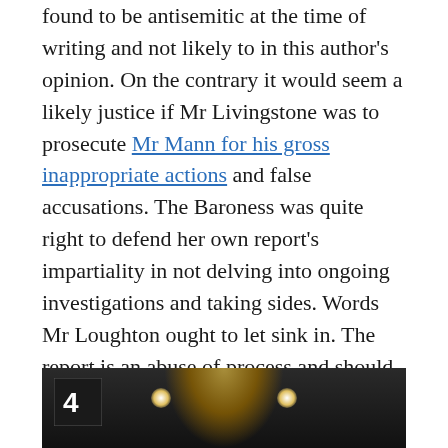found to be antisemitic at the time of writing and not likely to in this author's opinion. On the contrary it would seem a likely justice if Mr Livingstone was to prosecute Mr Mann for his gross inappropriate actions and false accusations. The Baroness was quite right to defend her own report's impartiality in not delving into ongoing investigations and taking sides. Words Mr Loughton ought to let sink in. The report is an abuse of process and should bring professional sanction because of its clear lack of impartiality. This would go some way to safeguarding future parliamentary Select Committee reports.
[Figure (photo): Dark interior image showing what appears to be a parliamentary or formal hall setting with overhead lights, including a Channel 4 logo in the top left corner.]